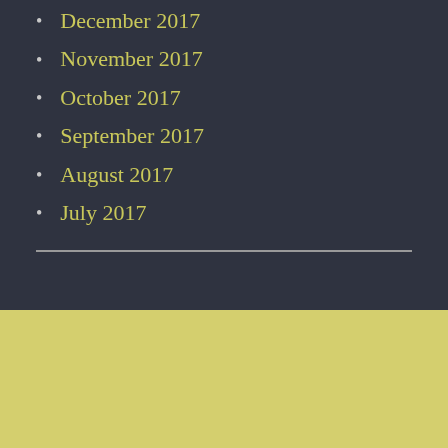December 2017
November 2017
October 2017
September 2017
August 2017
July 2017